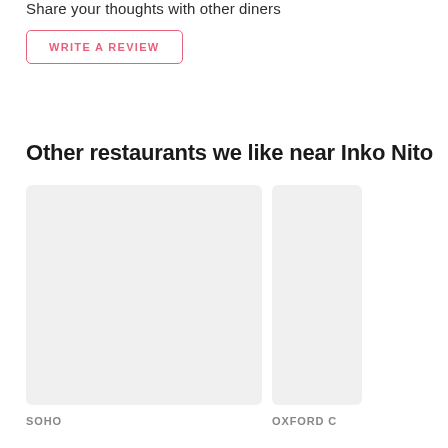Share your thoughts with other diners
WRITE A REVIEW
Other restaurants we like near Inko Nito
[Figure (photo): Gray placeholder image card for a restaurant, labeled SOHO]
[Figure (photo): Partially visible gray placeholder image card for a restaurant, labeled OXFORD C (cropped)]
SOHO
OXFORD C